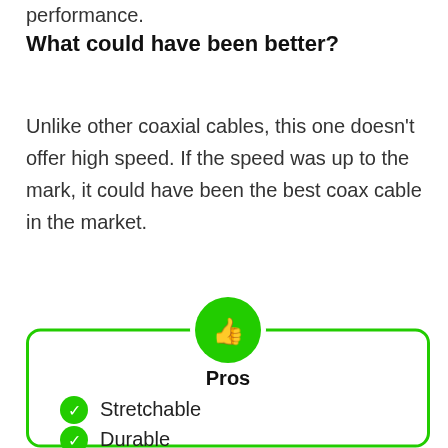performance.
What could have been better?
Unlike other coaxial cables, this one doesn't offer high speed. If the speed was up to the mark, it could have been the best coax cable in the market.
[Figure (infographic): Pros box with green thumbs-up icon and green rounded border, containing two list items: Stretchable and Durable]
Stretchable
Durable